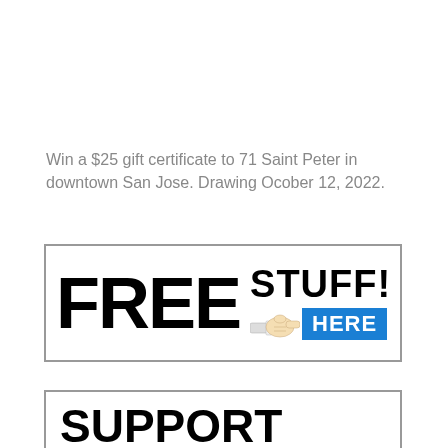Win a $25 gift certificate to 71 Saint Peter in downtown San Jose. Drawing Ocober 12, 2022.
[Figure (infographic): FREE STUFF! banner with bold black text and a blue HERE badge with a pointing hand icon]
[Figure (infographic): SUPPORT YOUR LOCAL banner with bold black and red text]